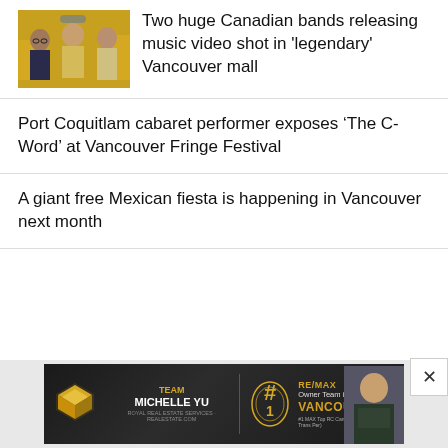[Figure (photo): Three young people sitting together; one wearing a yellow checkered shirt and cap, yellow chairs/background]
Two huge Canadian bands releasing music video shot in 'legendary' Vancouver mall
Port Coquitlam cabaret performer exposes ‘The C-Word’ at Vancouver Fringe Festival
A giant free Mexican fiesta is happening in Vancouver next month
[Figure (illustration): Team Michelle Yu advertisement - RE/MAX Owner Team in Vancouver - #1 Top RC Canadian Joy 2015 (Career Trans Per)]